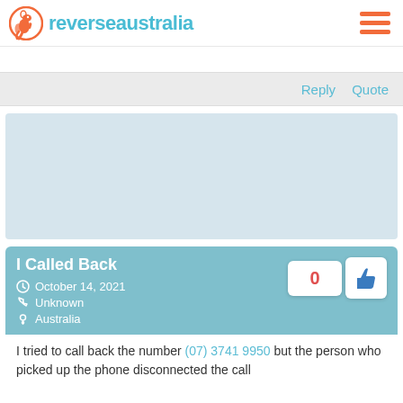reverseaustralia
Reply  Quote
[Figure (other): Advertisement or content placeholder block (grey/blue rectangle)]
I Called Back
October 14, 2021
Unknown
Australia
0
I tried to call back the number (07) 3741 9950 but the person who picked up the phone disconnected the call